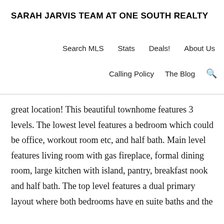SARAH JARVIS TEAM AT ONE SOUTH REALTY
Search MLS    Stats    Deals!    About Us
Calling Policy    The Blog    🔍
great location! This beautiful townhome features 3 levels. The lowest level features a bedroom which could be office, workout room etc, and half bath. Main level features living room with gas fireplace, formal dining room, large kitchen with island, pantry, breakfast nook and half bath. The top level features a dual primary layout where both bedrooms have en suite baths and the